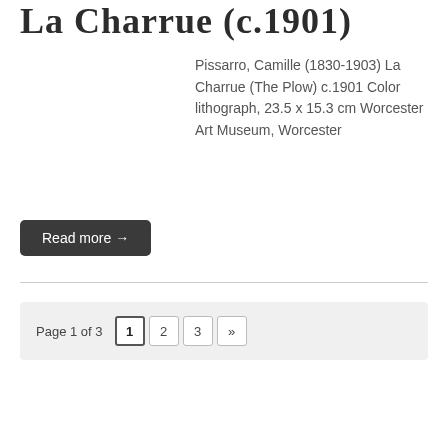La Charrue (c.1901)
Pissarro, Camille (1830-1903) La Charrue (The Plow) c.1901 Color lithograph, 23.5 x 15.3 cm Worcester Art Museum, Worcester
Read more →
Page 1 of 3  1  2  3  »